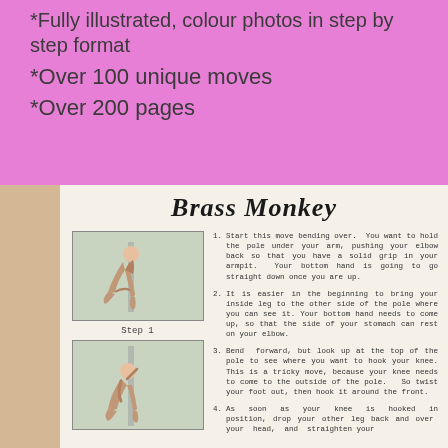*Fully illustrated, colour photos in step by step format
*Over 100 unique moves
*Over 200 pages
Brass Monkey
[Figure (photo): Person bending forward holding a pole, step 1 of Brass Monkey pole dance move]
Step 1
1. Start this move bending over. You want to hold the pole under your arm, pushing your elbow back so that you have a solid grip in your armpit. Your bottom hand is going to go straight down once you are up.
2. It is easier in the beginning to bring your inside leg to the other side of the pole where you can see it. Your bottom hand needs to come up, so that the side of your stomach can rest on your elbow.
3. Bend forward, but look up at the top of the pole to see where you want to hook your knee. This is a tricky move, because your knee needs to come to the outside of the pole. So twist your foot out, then hook it around the front.
[Figure (photo): Person bending forward holding a pole in a more advanced position, step 2 of Brass Monkey pole dance move]
4. As soon as your knee is hooked in position, drop your other leg back and over your head, and straighten your